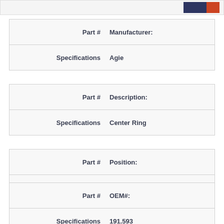[Figure (logo): Company logo with dark blue and orange/red colors in top right of header bar]
| Part # | Manufacturer: |
| --- | --- |
| Specifications | Agie |
| Part # | Description: |
| --- | --- |
| Specifications | Center Ring |
| Part # | Position: |
| --- | --- |
| Specifications | Upper |
| Part # | OEM#: |
| --- | --- |
| Specifications | 191.593 |